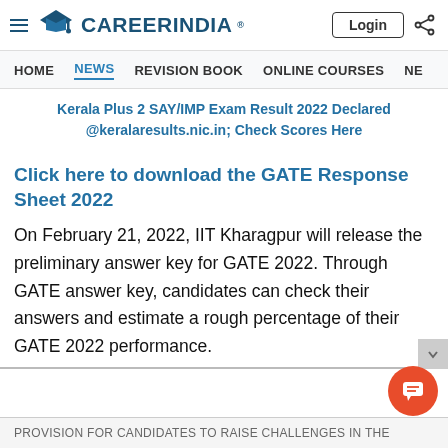CareerIndia - Login
HOME  NEWS  REVISION BOOK  ONLINE COURSES  NE
Kerala Plus 2 SAY/IMP Exam Result 2022 Declared @keralaresults.nic.in; Check Scores Here
Click here to download the GATE Response Sheet 2022
On February 21, 2022, IIT Kharagpur will release the preliminary answer key for GATE 2022. Through GATE answer key, candidates can check their answers and estimate a rough percentage of their GATE 2022 performance.
provision for candidates to raise challenges in the